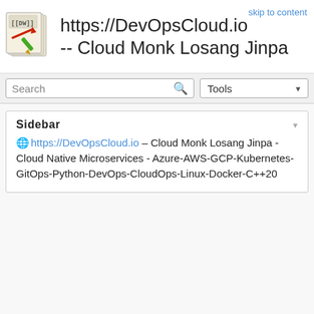https://DevOpsCloud.io -- Cloud Monk Losang Jinpa
skip to content
Search
Tools
Sidebar
https://DevOpsCloud.io – Cloud Monk Losang Jinpa - Cloud Native Microservices - Azure-AWS-GCP-Kubernetes-GitOps-Python-DevOps-CloudOps-Linux-Docker-C++20